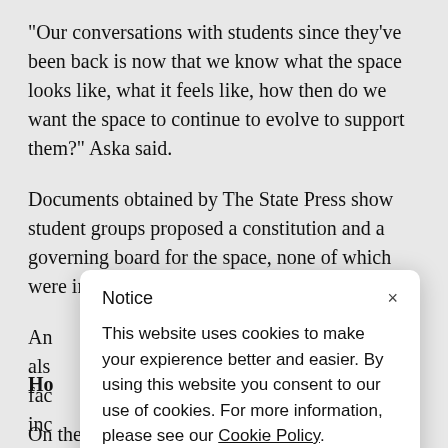"Our conversations with students since they've been back is now that we know what the space looks like, what it feels like, how then do we want the space to continue to evolve to support them?" Aska said.
Documents obtained by The State Press show student groups proposed a constitution and a governing board for the space, none of which were implemented at the time of the incident.
An [partially obscured] also [partially obscured] fac [partially obscured] inc [partially obscured]
Ho [partially obscured by modal]
[Figure (screenshot): Cookie notice modal popup with title 'Notice', close button 'x', and text: 'This website uses cookies to make your expierence better and easier. By using this website you consent to our use of cookies. For more information, please see our Cookie Policy.']
On the day of the confrontation, students from